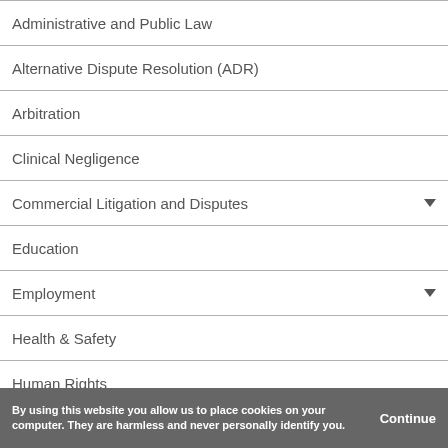Administrative and Public Law
Alternative Dispute Resolution (ADR)
Arbitration
Clinical Negligence
Commercial Litigation and Disputes
Education
Employment
Health & Safety
Human Rights
Insurance & Reinsurance
Mediation
By using this website you allow us to place cookies on your computer. They are harmless and never personally identify you. Continue